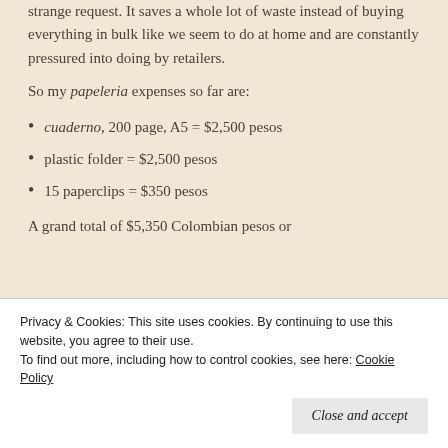strange request. It saves a whole lot of waste instead of buying everything in bulk like we seem to do at home and are constantly pressured into doing by retailers.
So my papeleria expenses so far are:
cuaderno, 200 page, A5 = $2,500 pesos
plastic folder = $2,500 pesos
15 paperclips = $350 pesos
A grand total of $5,350 Colombian pesos or
(obscured text)
Privacy & Cookies: This site uses cookies. By continuing to use this website, you agree to their use.
To find out more, including how to control cookies, see here: Cookie Policy